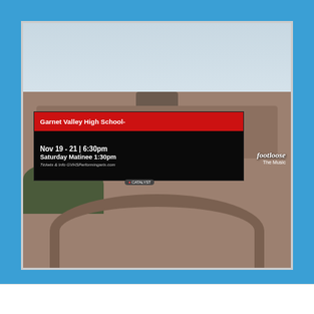[Figure (photo): Photograph of a large outdoor LED billboard mounted on the Concord Township stone building/archway structure. The billboard advertises Garnet Valley High School's production of Footloose The Musical, showing dates Nov 19-21, 6:30pm, Saturday Matinee 1:30pm, and website GVHSPerformingarts.com. The photo is set against a blue background frame.]